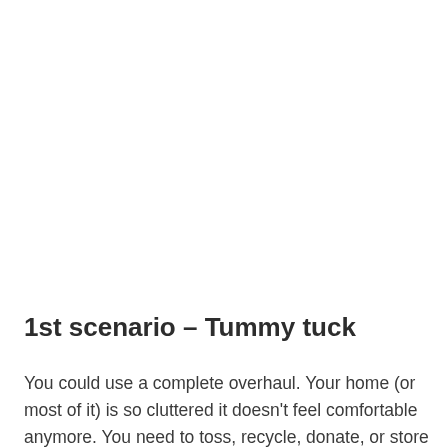1st scenario – Tummy tuck
You could use a complete overhaul. Your home (or most of it) is so cluttered it doesn't feel comfortable anymore. You need to toss, recycle, donate, or store most of it.